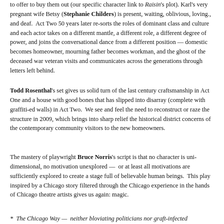to offer to buy them out (our specific character link to Raisin's plot). Karl's very pregnant wife Betsy (Stephanie Childers) is present, waiting, oblivious, loving., and deaf.  Act Two 50 years later re-sorts the roles of dominant class and culture and each actor takes on a different mantle, a different role, a different degree of power, and joins the conversational dance from a different position — domestic becomes homeowner, mourning father becomes workman, and the ghost of the deceased war veteran visits and communicates across the generations through letters left behind.
Todd Rosenthal's set gives us solid turn of the last century craftsmanship in Act One and a house with good bones that has slipped into disarray (complete with graffiti-ed walls) in Act Two.  We see and feel the need to reconstruct or raze the structure in 2009, which brings into sharp relief the historical district concerns of the contemporary community visitors to the new homeowners.
The mastery of playwright Bruce Norris's script is that no character is uni-dimensional, no motivation unexplored —  or at least all motivations are sufficiently explored to create a stage full of believable human beings.  This play inspired by a Chicago story filtered through the Chicago experience in the hands of Chicago theatre artists gives us again: magic.
*  The Chicago Way —  neither bloviating politicians nor graft-infected